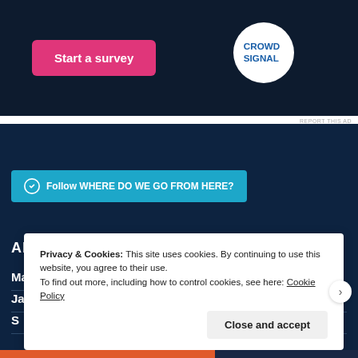[Figure (screenshot): Ad banner with dark navy background, pink 'Start a survey' button, and Crowd Signal logo (white circle)]
REPORT THIS AD
Follow WHERE DO WE GO FROM HERE?
ARCHIVES
Mar 2022
Jan 2022
S
Privacy & Cookies: This site uses cookies. By continuing to use this website, you agree to their use.
To find out more, including how to control cookies, see here: Cookie Policy
Close and accept